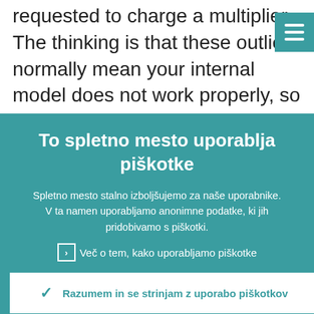requested to charge a multiplier. The thinking is that these outliers normally mean your internal model does not work properly, so you are not good at estimating
[Figure (screenshot): Teal hamburger menu button in top right corner]
To spletno mesto uporablja piškotke
Spletno mesto stalno izboljšujemo za naše uporabnike. V ta namen uporabljamo anonimne podatke, ki jih pridobivamo s piškotki.
Več o tem, kako uporabljamo piškotke
Razumem in se strinjam z uporabo piškotkov
Ne strinjam se z uporabo piškotkov